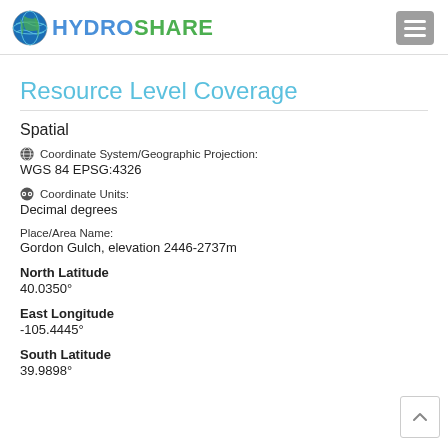HYDROSHARE
Resource Level Coverage
Spatial
Coordinate System/Geographic Projection:
WGS 84 EPSG:4326
Coordinate Units:
Decimal degrees
Place/Area Name:
Gordon Gulch, elevation 2446-2737m
North Latitude
40.0350°
East Longitude
-105.4445°
South Latitude
39.9898°